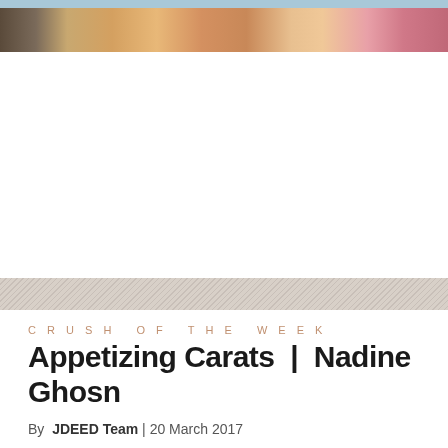[Figure (photo): Cropped photo strip at top of page showing a person's face/hair with warm tones and pink/magenta colors on the right side, with a light blue bar above]
[Figure (other): Hatched diagonal stripe pattern band separator]
CRUSH OF THE WEEK
Appetizing Carats | Nadine Ghosn
By JDEED Team | 20 March 2017
[Figure (infographic): Social media share buttons: Facebook (blue f), Twitter (blue bird), Pinterest (red p), Google+ (red g+), and a gray '0 COMMENTS' button]